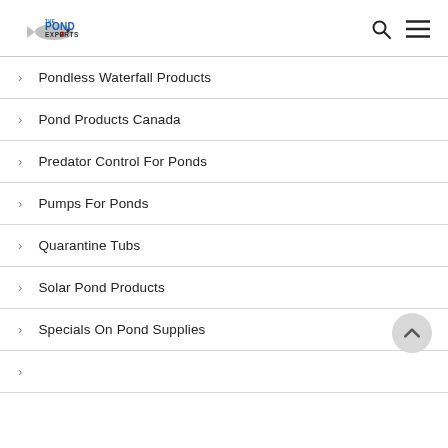The Pond Experts
Pondless Waterfall Products
Pond Products Canada
Predator Control For Ponds
Pumps For Ponds
Quarantine Tubs
Solar Pond Products
Specials On Pond Supplies